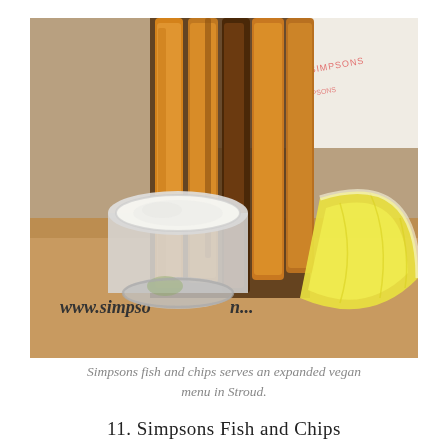[Figure (photo): Close-up photo of battered fish strips in a cardboard takeaway box with a pot of white sauce/tartar sauce and a lemon wedge. The box has 'www.simpso...' printed on it. A branded wrapper with 'SIMPSONS' text is visible in the background.]
Simpsons fish and chips serves an expanded vegan menu in Stroud.
11. Simpsons Fish and Chips